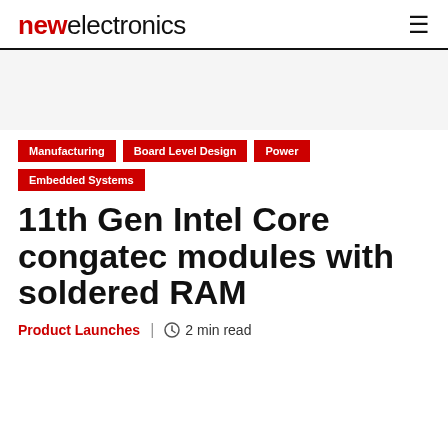newelectronics
Manufacturing
Board Level Design
Power
Embedded Systems
11th Gen Intel Core congatec modules with soldered RAM
Product Launches | 2 min read